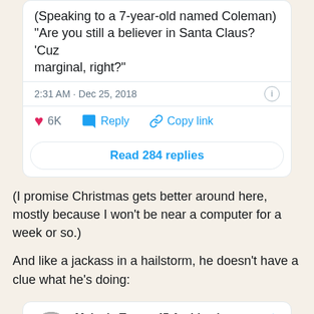[Figure (screenshot): Top portion of a tweet card showing partial tweet text: '(Speaking to a 7-year-old named Coleman) "Are you still a believer in Santa Claus? 'Cuz marginal, right?"', timestamp '2:31 AM · Dec 25, 2018', with like (6K), reply, and copy link actions, and a 'Read 284 replies' button.]
(I promise Christmas gets better around here, mostly because I won't be near a computer for a week or so.)
And like a jackass in a hailstorm, he doesn't have a clue what he's doing:
[Figure (screenshot): Tweet card from Melania Trump 45 Archived (@FLOTUS45) with Twitter bird icon, showing text: 'Helping children across the country track #Santa is becoming one of my favorite...']